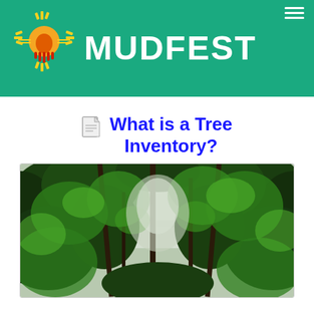MUDFEST
What is a Tree Inventory?
[Figure (photo): Looking up through a dense green forest canopy with tall trees and glimpses of sky visible through the leaves]